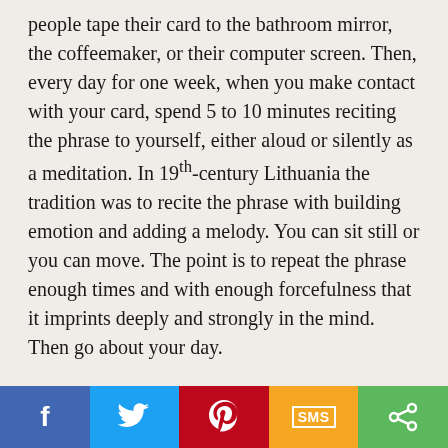people tape their card to the bathroom mirror, the coffeemaker, or their computer screen. Then, every day for one week, when you make contact with your card, spend 5 to 10 minutes reciting the phrase to yourself, either aloud or silently as a meditation. In 19th-century Lithuania the tradition was to recite the phrase with building emotion and adding a melody. You can sit still or you can move. The point is to repeat the phrase enough times and with enough forcefulness that it imprints deeply and strongly in the mind. Then go about your day.
The Musar teachers tell us that each episode of repetition "leaves a trace on the soul." That means you are not likely to see or feel any instant change. But you will be laying down these traces nonetheless, and over time they will accumulate,
[Figure (other): Social sharing bar with Facebook, Twitter, Pinterest, SMS, and Share buttons]